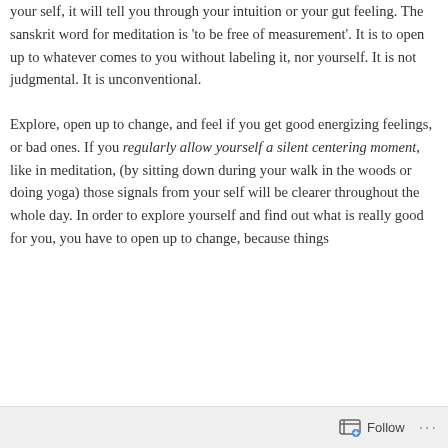your self, it will tell you through your intuition or your gut feeling. The sanskrit word for meditation is 'to be free of measurement'. It is to open up to whatever comes to you without labeling it, nor yourself. It is not judgmental. It is unconventional.
Explore, open up to change, and feel if you get good energizing feelings, or bad ones. If you regularly allow yourself a silent centering moment, like in meditation, (by sitting down during your walk in the woods or doing yoga) those signals from your self will be clearer throughout the whole day. In order to explore yourself and find out what is really good for you, you have to open up to change, because things
Follow ···